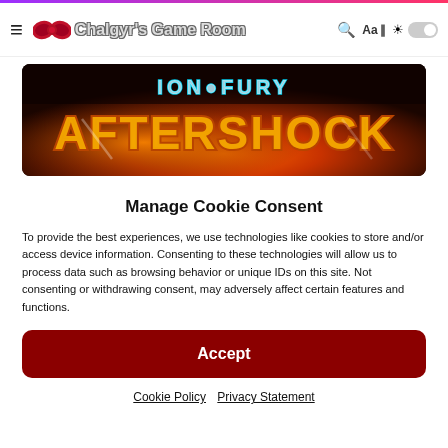Chalgyr's Game Room
[Figure (screenshot): Ion Fury Aftershock game banner image with fiery orange/gold text on dark background]
Manage Cookie Consent
To provide the best experiences, we use technologies like cookies to store and/or access device information. Consenting to these technologies will allow us to process data such as browsing behavior or unique IDs on this site. Not consenting or withdrawing consent, may adversely affect certain features and functions.
Accept
Cookie Policy   Privacy Statement